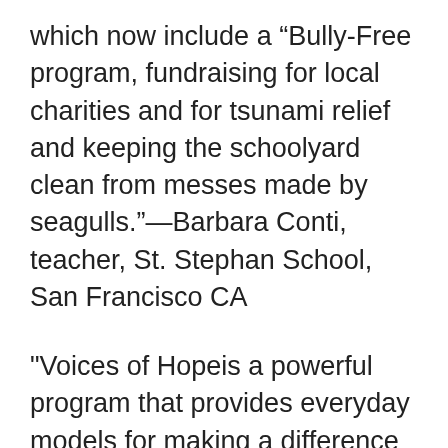which now include a “Bully-Free program, fundraising for local charities and for tsunami relief and keeping the schoolyard clean from messes made by seagulls.”—Barbara Conti, teacher, St. Stephan School, San Francisco CA
"Voices of Hopeis a powerful program that provides everyday models for making a difference in communities across America and beyond... Voices of Hope supports young people having greater life choices in their future and